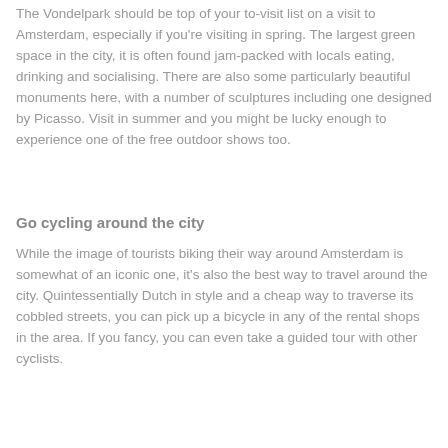The Vondelpark should be top of your to-visit list on a visit to Amsterdam, especially if you're visiting in spring. The largest green space in the city, it is often found jam-packed with locals eating, drinking and socialising. There are also some particularly beautiful monuments here, with a number of sculptures including one designed by Picasso. Visit in summer and you might be lucky enough to experience one of the free outdoor shows too.
Go cycling around the city
While the image of tourists biking their way around Amsterdam is somewhat of an iconic one, it's also the best way to travel around the city. Quintessentially Dutch in style and a cheap way to traverse its cobbled streets, you can pick up a bicycle in any of the rental shops in the area. If you fancy, you can even take a guided tour with other cyclists.